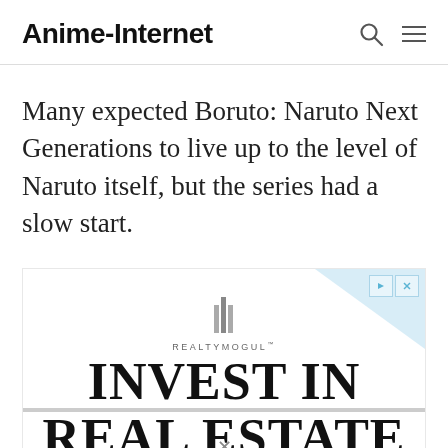Anime-Internet
Many expected Boruto: Naruto Next Generations to live up to the level of Naruto itself, but the series had a slow start.
[Figure (advertisement): RealtyMogul advertisement showing 'INVEST IN REAL ESTATE' text with logo]